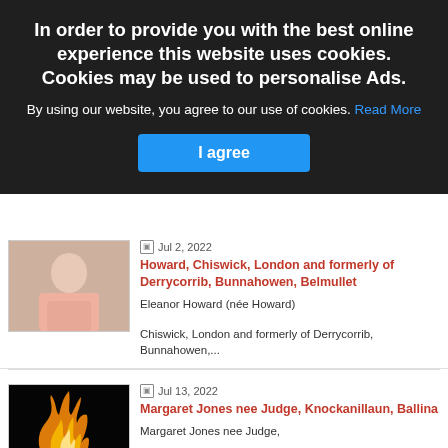[Figure (screenshot): Cookie consent overlay on a website with dark background, bold white heading, body text, and blue 'I agree' button]
In order to provide you with the best online experience this website uses cookies. Cookies may be used to personalise Ads.
By using our website, you agree to our use of cookies. Read More
I agree
Jul 2, 2022
Howard, Chiswick, London and formerly of Derrycorrib, Bunnahowen, Belmullet
Eleanor Howard (née Howard)
Chiswick, London and formerly of Derrycorrib, Bunnahowen,...
Jul 13, 2022
Margaret Jones nee Judge, Knockanillaun, Ballina
Margaret Jones nee Judge,
Knockanillaun, Ballina.
Funeral mass will take place in St....